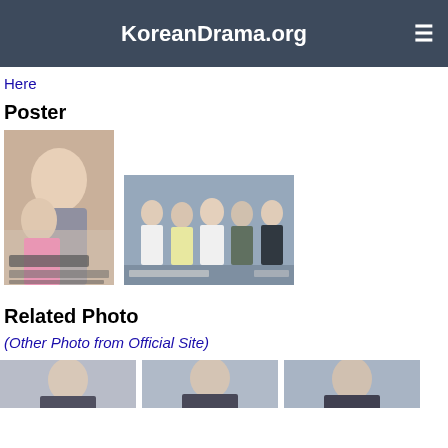KoreanDrama.org
Here
Poster
[Figure (photo): Korean drama poster showing a man and woman smiling, with Korean text]
[Figure (photo): Korean drama poster showing a group of doctors/medical staff walking]
Related Photo
(Other Photo from Official Site)
[Figure (photo): Related photo 1 - female character]
[Figure (photo): Related photo 2 - male character]
[Figure (photo): Related photo 3 - male character]